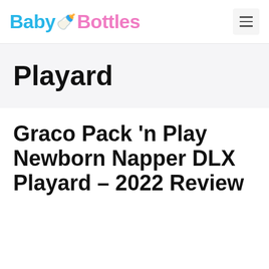Baby Bottles
Playard
Graco Pack ‘n Play Newborn Napper DLX Playard – 2022 Review